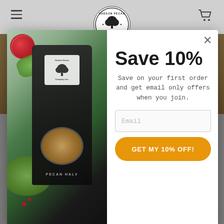Hudson Pecan Company Inc. (logo) — Navigation header with hamburger menu and cart icon
[Figure (photo): Background food photo showing nuts/pecan dishes, partially obscured by modal]
[Figure (photo): Modal popup with left panel showing Hudson Pecan Company product bag (Pecan Halves) with food styling (blood oranges, herbs, greens bowl) and right white panel with Save 10% offer]
Save 10%
Save on your first order and get email only offers when you join.
Email
GET MY 10% OFF!
Total Time: 30 Minutes
This spicy cocktail is one of a kind and one you'll want to make often.  Perfect for gatherings around the house.